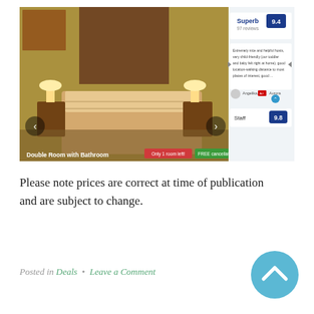[Figure (screenshot): Screenshot of a hotel booking page showing a Double Room with Bathroom photo, a review panel with 'Superb 9.4' rating and 97 reviews, a guest review snippet, Staff score 9.8, navigation arrows, 'Only 1 room left!' badge in red, and 'FREE cancellation' badge in green.]
Please note prices are correct at time of publication and are subject to change.
Posted in Deals • Leave a Comment